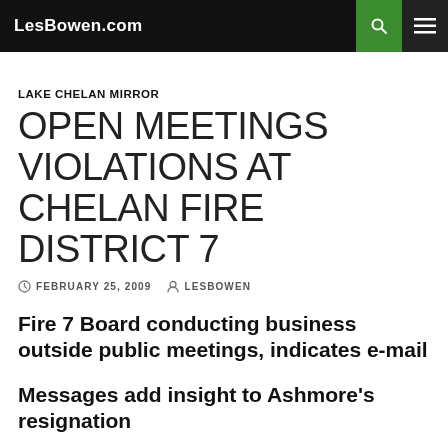LesBowen.com
LAKE CHELAN MIRROR
OPEN MEETINGS VIOLATIONS AT CHELAN FIRE DISTRICT 7
FEBRUARY 25, 2009   LESBOWEN
Fire 7 Board conducting business outside public meetings, indicates e-mail
Messages add insight to Ashmore's resignation